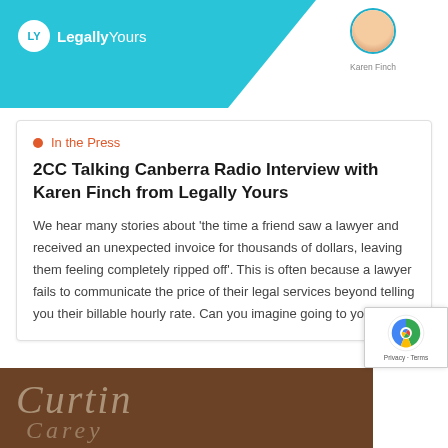[Figure (logo): Legally Yours logo with LY circle and Karen Finch avatar on teal banner header]
In the Press
2CC Talking Canberra Radio Interview with Karen Finch from Legally Yours
We hear many stories about ‘the time a friend saw a lawyer and received an unexpected invoice for thousands of dollars, leaving them feeling completely ripped off’. This is often because a lawyer fails to communicate the price of their legal services beyond telling you their billable hourly rate. Can you imagine going to your [...]
[Figure (photo): Curtin logo/sign in brown/tan tones with italic serif text]